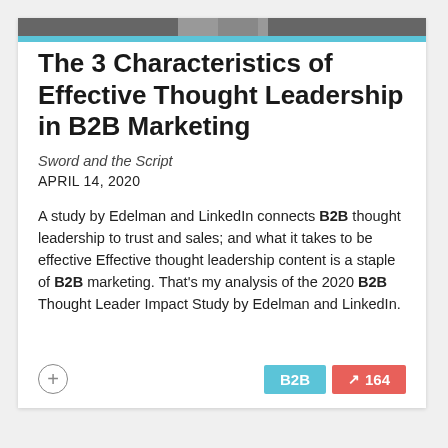[Figure (photo): Dark banner image at top of page]
The 3 Characteristics of Effective Thought Leadership in B2B Marketing
Sword and the Script
APRIL 14, 2020
A study by Edelman and LinkedIn connects B2B thought leadership to trust and sales; and what it takes to be effective Effective thought leadership content is a staple of B2B marketing. That's my analysis of the 2020 B2B Thought Leader Impact Study by Edelman and LinkedIn.
B2B 164